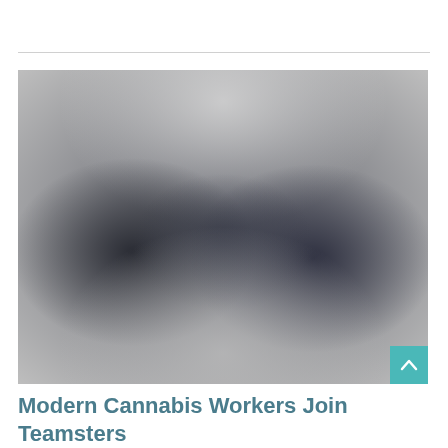[Figure (photo): A blurred photograph showing people, likely workers or a group meeting, with dark tones in the center and lighter grey at the edges. Details are not discernible due to heavy blur/pixelation.]
Modern Cannabis Workers Join Teamsters Local 777